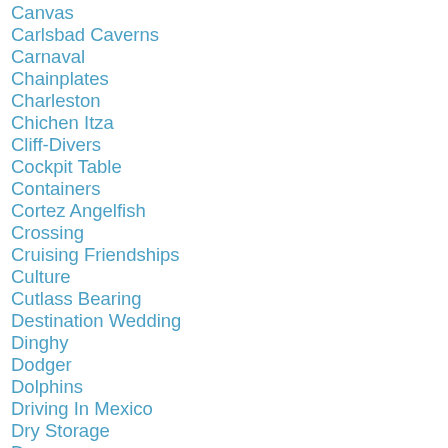Canvas
Carlsbad Caverns
Carnaval
Chainplates
Charleston
Chichen Itza
Cliff-Divers
Cockpit Table
Containers
Cortez Angelfish
Crossing
Cruising Friendships
Culture
Cutlass Bearing
Destination Wedding
Dinghy
Dodger
Dolphins
Driving In Mexico
Dry Storage
Durango